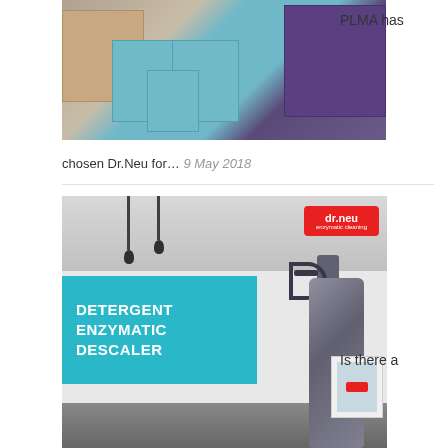[Figure (photo): Product boxes for Dr.Neu brand — brown boxes on left, teal/aqua boxes in center, purple boxes on right, arranged as product display]
PLMA has
chosen Dr.Neu for… 9 May 2018
[Figure (photo): Dr.Neu enzymatic cleaning spray bottle in kitchen setting with teal banner reading DETERGENT ENZYMATIC DESCALER. Dr.Neu logo badge visible top right.]
Is there a